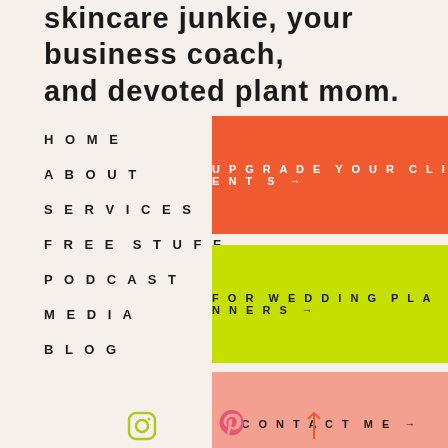skincare junkie, your business coach, and devoted plant mom.
HOME
ABOUT
SERVICES
FREE STUFF
PODCAST
MEDIA
BLOG
[Figure (infographic): Orange button with text UPGRADE YOUR CLIENT S →]
[Figure (infographic): Yellow-green button with text FOR WEDDING PLANNERS →]
[Figure (infographic): Pink/salmon button with text CONTACT ME →]
[Figure (infographic): Social media icons: Instagram camera icon, Pinterest P icon, and an up arrow icon at the bottom of the page]